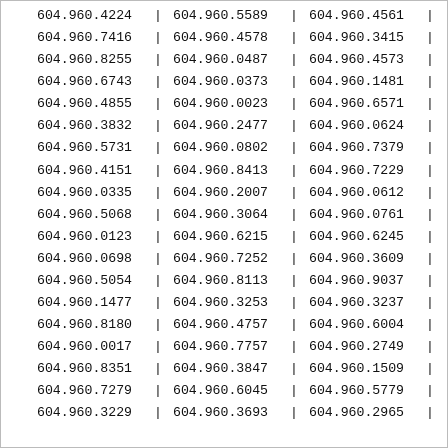| col1 | col2 | col3 |
| --- | --- | --- |
| 604.960.4224 | 604.960.5589 | 604.960.4561 |
| 604.960.7416 | 604.960.4578 | 604.960.3415 |
| 604.960.8255 | 604.960.0487 | 604.960.4573 |
| 604.960.6743 | 604.960.0373 | 604.960.1481 |
| 604.960.4855 | 604.960.0023 | 604.960.6571 |
| 604.960.3832 | 604.960.2477 | 604.960.0624 |
| 604.960.5731 | 604.960.0802 | 604.960.7379 |
| 604.960.4151 | 604.960.8413 | 604.960.7229 |
| 604.960.0335 | 604.960.2007 | 604.960.0612 |
| 604.960.5068 | 604.960.3064 | 604.960.0761 |
| 604.960.0123 | 604.960.6215 | 604.960.6245 |
| 604.960.0698 | 604.960.7252 | 604.960.3609 |
| 604.960.5054 | 604.960.8113 | 604.960.9037 |
| 604.960.1477 | 604.960.3253 | 604.960.3237 |
| 604.960.8180 | 604.960.4757 | 604.960.6004 |
| 604.960.0017 | 604.960.7757 | 604.960.2749 |
| 604.960.8351 | 604.960.3847 | 604.960.1509 |
| 604.960.7279 | 604.960.6045 | 604.960.5779 |
| 604.960.3229 | 604.960.3693 | 604.960.2965 |